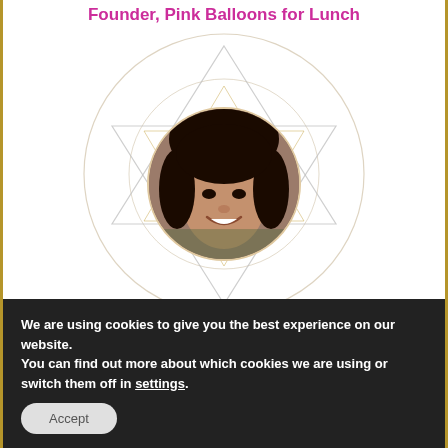Founder, Pink Balloons for Lunch
[Figure (photo): Profile photo of a smiling young woman with dark hair, displayed in a circular frame over a geometric star/circle background design in gold/gray lines]
“Abiola’s non-judgmental approach allows her to sincerely listen and give empowering and insightful
We are using cookies to give you the best experience on our website.
You can find out more about which cookies we are using or switch them off in settings.
Accept